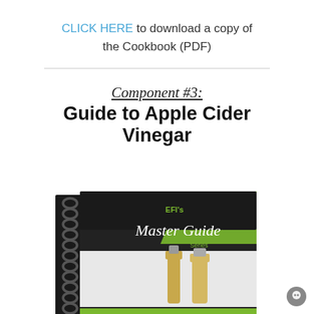CLICK HERE to download a copy of the Cookbook (PDF)
[Figure (illustration): Cover of EFI's Master Guide Series spiral-bound book about Apple Cider Vinegar, showing green and black cover with title text and a photo of apple cider vinegar bottles at the bottom]